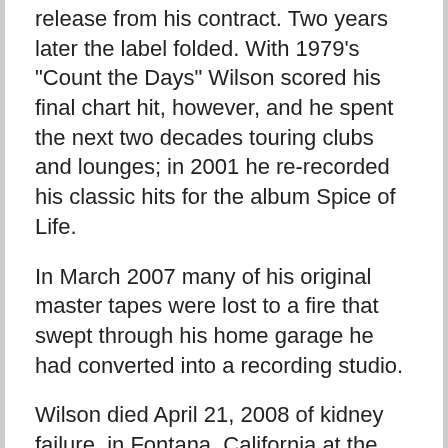release from his contract. Two years later the label folded. With 1979's "Count the Days" Wilson scored his final chart hit, however, and he spent the next two decades touring clubs and lounges; in 2001 he re-recorded his classic hits for the album Spice of Life.
In March 2007 many of his original master tapes were lost to a fire that swept through his home garage he had converted into a recording studio.
Wilson died April 21, 2008 of kidney failure, in Fontana, California at the age of 68. Read more about Al Wilson on Last.fm. User-contributed text is available under the Creative Commons By-SA License; additional terms may apply.